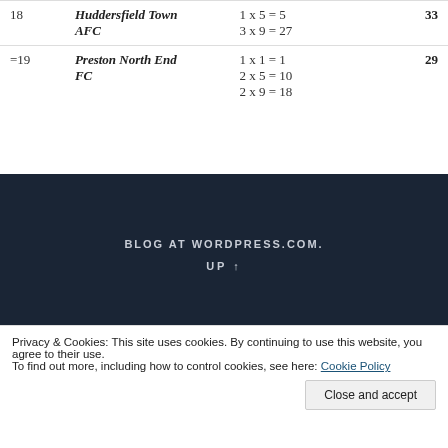| Rank | Team | Formula | Score |
| --- | --- | --- | --- |
| 18 | Huddersfield Town AFC | 1 x 5 = 5
3 x 9 = 27 | 33 |
| =19 | Preston North End FC | 1 x 1 = 1
2 x 5 = 10
2 x 9 = 18 | 29 |
| 22 | Leicester City FC | 2 x 1 = 2
3 x 4 = 12
1 x 5 = 5 | 28 |
BLOG AT WORDPRESS.COM.
UP ↑
Privacy & Cookies: This site uses cookies. By continuing to use this website, you agree to their use.
To find out more, including how to control cookies, see here: Cookie Policy